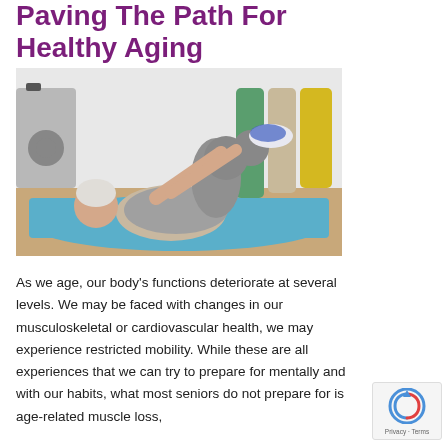Paving The Path For Healthy Aging
[Figure (photo): An elderly woman lying on a blue exercise mat in a gym, performing a stretching exercise pulling her knees to her chest. Exercise equipment and colorful foam rollers are visible in the background.]
As we age, our body's functions deteriorate at several levels. We may be faced with changes in our musculoskeletal or cardiovascular health, we may experience restricted mobility. While these are all experiences that we can try to prepare for mentally and with our habits, what most seniors do not prepare for is age-related muscle loss,